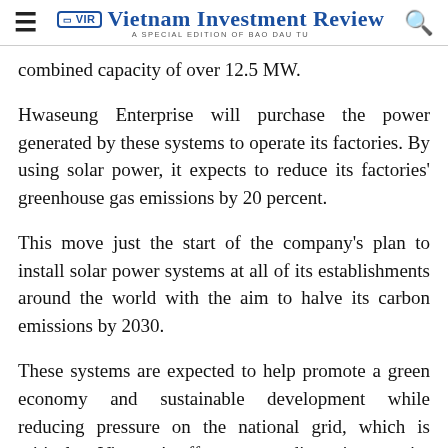VIR Vietnam Investment Review — A SPECIAL EDITION OF BAO DAU TU
combined capacity of over 12.5 MW.
Hwaseung Enterprise will purchase the power generated by these systems to operate its factories. By using solar power, it expects to reduce its factories' greenhouse gas emissions by 20 percent.
This move just the start of the company's plan to install solar power systems at all of its establishments around the world with the aim to halve its carbon emissions by 2030.
These systems are expected to help promote a green economy and sustainable development while reducing pressure on the national grid, which is critical to Vietnam's efforts to coordinate its capacity to adapt to...